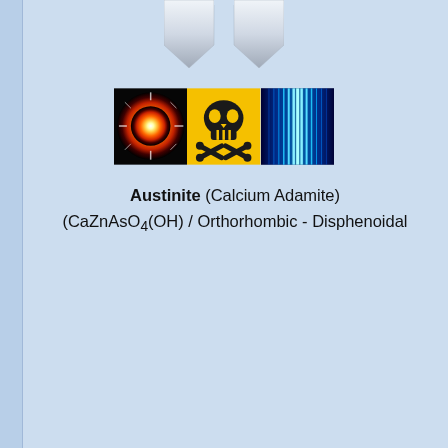[Figure (illustration): Decorative arrow/bookmark tab at top center of page, silver/white colored pointing downward]
[Figure (infographic): Three side-by-side images: left - explosion/starburst on black background, center - skull and crossbones symbol on yellow background (hazard/toxic warning), right - blue spectral wave pattern on dark background]
Austinite (Calcium Adamite)
(CaZnAsO4(OH) / Orthorhombic - Disphenoidal